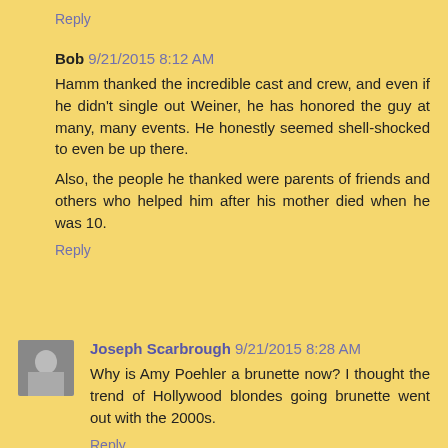Reply
Bob 9/21/2015 8:12 AM
Hamm thanked the incredible cast and crew, and even if he didn't single out Weiner, he has honored the guy at many, many events. He honestly seemed shell-shocked to even be up there.
Also, the people he thanked were parents of friends and others who helped him after his mother died when he was 10.
Reply
Joseph Scarbrough 9/21/2015 8:28 AM
Why is Amy Poehler a brunette now? I thought the trend of Hollywood blondes going brunette went out with the 2000s.
Reply